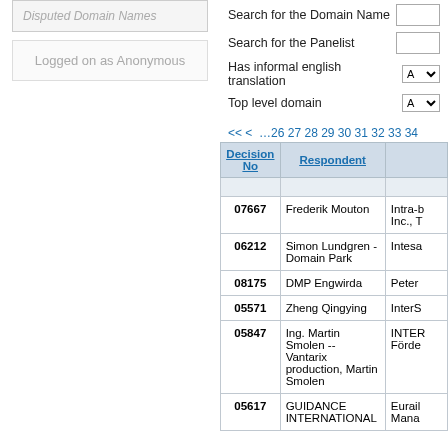Disputed Domain Names
Logged on as Anonymous
Search for the Domain Name
Search for the Panelist
Has informal english translation
Top level domain
<< < …26 27 28 29 30 31 32 33 34
| Decision No | Respondent |  |
| --- | --- | --- |
| 07667 | Frederik Mouton | Intra-b Inc., T |
| 06212 | Simon Lundgren - Domain Park | Intesa |
| 08175 | DMP Engwirda | Peter |
| 05571 | Zheng Qingying | InterS |
| 05847 | Ing. Martin Smolen -- Vantarix production, Martin Smolen | INTER Förde |
| 05617 | GUIDANCE INTERNATIONAL | Eurail Mana |